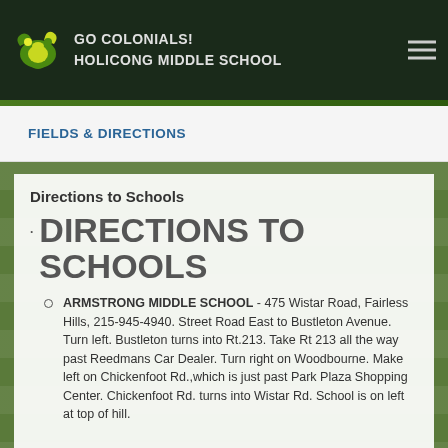GO COLONIALS! HOLICONG MIDDLE SCHOOL
FIELDS & DIRECTIONS
Directions to Schools
DIRECTIONS TO SCHOOLS
ARMSTRONG MIDDLE SCHOOL - 475 Wistar Road, Fairless Hills, 215-945-4940. Street Road East to Bustleton Avenue. Turn left. Bustleton turns into Rt.213. Take Rt 213 all the way past Reedmans Car Dealer. Turn right on Woodbourne. Make left on Chickenfoot Rd.,which is just past Park Plaza Shopping Center. Chickenfoot Rd. turns into Wistar Rd. School is on left at top of hill.